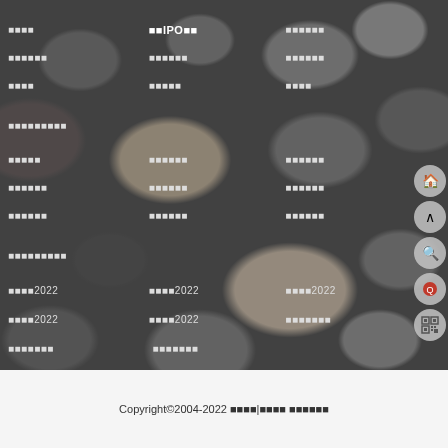[Figure (photo): Background photo of smooth river pebbles/stones in dark tones, overlaid with a navigation menu in white/light grey text organized in three columns with rows of Chinese text links and some containing '2022'. IPO text is highlighted. Side floating buttons visible on right edge.]
■■IPO■■
Copyright©2004-2022 ■■■■|■■■■ ■■■■■■